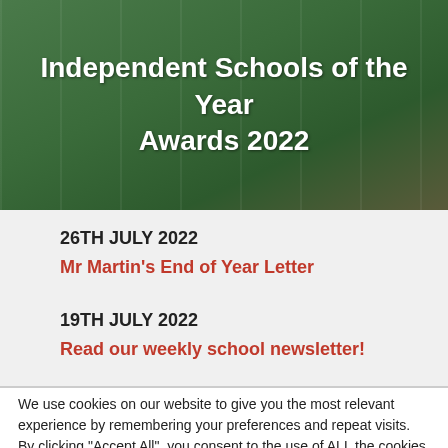[Figure (photo): Sports field with white yard lines on green grass, partially visible people at the edge; overlay text reads 'Independent Schools of the Year Awards 2022']
Independent Schools of the Year Awards 2022
26TH JULY 2022
Mr Martin's End of Year Letter
19TH JULY 2022
Read our weekly school newsletter!
We use cookies on our website to give you the most relevant experience by remembering your preferences and repeat visits. By clicking "Accept All", you consent to the use of ALL the cookies. However, you may visit "Cookie Settings" to provide a controlled consent.